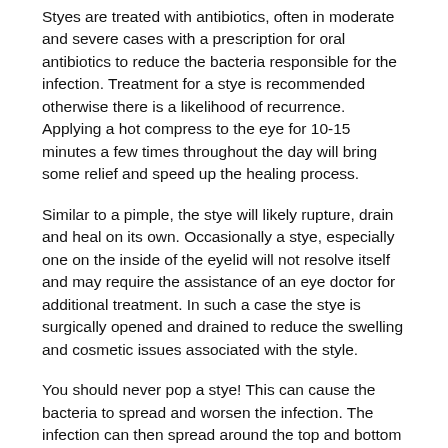Styes are treated with antibiotics, often in moderate and severe cases with a prescription for oral antibiotics to reduce the bacteria responsible for the infection. Treatment for a stye is recommended otherwise there is a likelihood of recurrence. Applying a hot compress to the eye for 10-15 minutes a few times throughout the day will bring some relief and speed up the healing process.
Similar to a pimple, the stye will likely rupture, drain and heal on its own. Occasionally a stye, especially one on the inside of the eyelid will not resolve itself and may require the assistance of an eye doctor for additional treatment. In such a case the stye is surgically opened and drained to reduce the swelling and cosmetic issues associated with the style.
You should never pop a stye! This can cause the bacteria to spread and worsen the infection. The infection can then spread around the top and bottom eyelids and even reach the brain. If a stye is getting worse, painful, or irritated, contact your eye doctor for treatment.
In cases where styes occur frequently, your eye doctor may